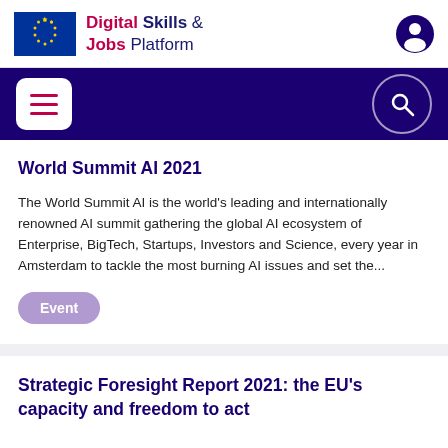Digital Skills & Jobs Platform
World Summit AI 2021
The World Summit AI is the world's leading and internationally renowned AI summit gathering the global AI ecosystem of Enterprise, BigTech, Startups, Investors and Science, every year in Amsterdam to tackle the most burning AI issues and set the...
Event
Strategic Foresight Report 2021: the EU's capacity and freedom to act